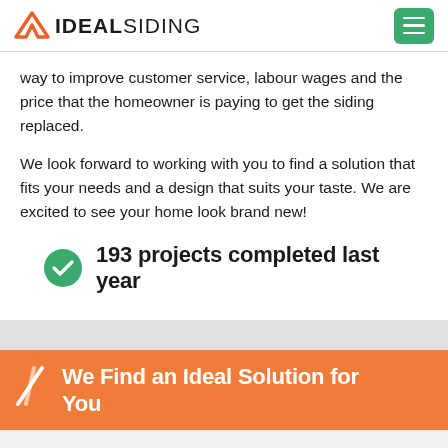IDEAL SIDING
way to improve customer service, labour wages and the price that the homeowner is paying to get the siding replaced.
We look forward to working with you to find a solution that fits your needs and a design that suits your taste. We are excited to see your home look brand new!
193 projects completed last year
We Find an Ideal Solution for You